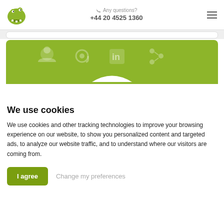Any questions? +44 20 4525 1360
[Figure (illustration): Green crocodile/dinosaur logo icon in top-left of header]
[Figure (illustration): Green banner with social media icons (person, email, LinkedIn, share) in olive/lime green rounded rectangle]
We use cookies
We use cookies and other tracking technologies to improve your browsing experience on our website, to show you personalized content and targeted ads, to analyze our website traffic, and to understand where our visitors are coming from.
I agree
Change my preferences